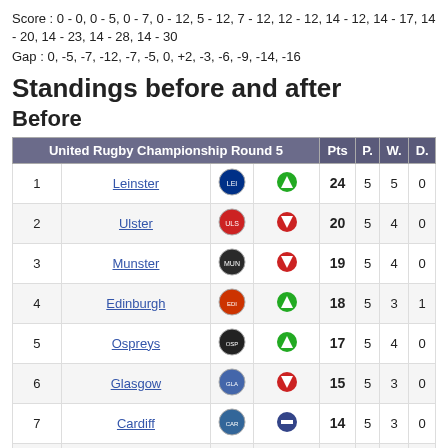Score : 0 - 0, 0 - 5, 0 - 7, 0 - 12, 5 - 12, 7 - 12, 12 - 12, 14 - 12, 14 - 17, 14 - 20, 14 - 23, 14 - 28, 14 - 30
Gap : 0, -5, -7, -12, -7, -5, 0, +2, -3, -6, -9, -14, -16
Standings before and after
Before
|  | United Rugby Championship Round 5 |  |  | Pts | P. | W. | D. |
| --- | --- | --- | --- | --- | --- | --- | --- |
| 1 | Leinster | [logo] | [up] | 24 | 5 | 5 | 0 |
| 2 | Ulster | [logo] | [down] | 20 | 5 | 4 | 0 |
| 3 | Munster | [logo] | [down] | 19 | 5 | 4 | 0 |
| 4 | Edinburgh | [logo] | [up] | 18 | 5 | 3 | 1 |
| 5 | Ospreys | [logo] | [up] | 17 | 5 | 4 | 0 |
| 6 | Glasgow | [logo] | [down] | 15 | 5 | 3 | 0 |
| 7 | Cardiff | [logo] | [=] | 14 | 5 | 3 | 0 |
| 8 | Benetton | [logo] | [=] | 12 | 5 | 2 | 0 |
| 9 | Connacht | [logo] | [up] | 11 | 5 | 2 | 0 |
| 10 | Scarlets | [logo] | [up] | 11 | 5 | 2 | 0 |